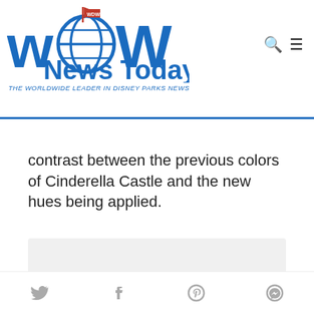WDW News Today — THE WORLDWIDE LEADER IN DISNEY PARKS NEWS
contrast between the previous colors of Cinderella Castle and the new hues being applied.
[Figure (other): Advertisement placeholder box with light gray background and 'ADVERTISEMENT' text centered]
Social share icons: Twitter, Facebook, Pinterest, Messenger